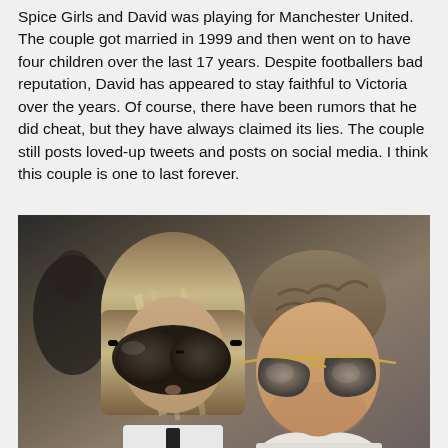Spice Girls and David was playing for Manchester United. The couple got married in 1999 and then went on to have four children over the last 17 years. Despite footballers bad reputation, David has appeared to stay faithful to Victoria over the years. Of course, there have been rumors that he did cheat, but they have always claimed its lies. The couple still posts loved-up tweets and posts on social media. I think this couple is one to last forever.
[Figure (photo): A couple wearing sunglasses — a woman with a blunt bob hairstyle in large dark sunglasses on the left, and a man with short textured hair in aviator sunglasses on the right, photographed outdoors.]